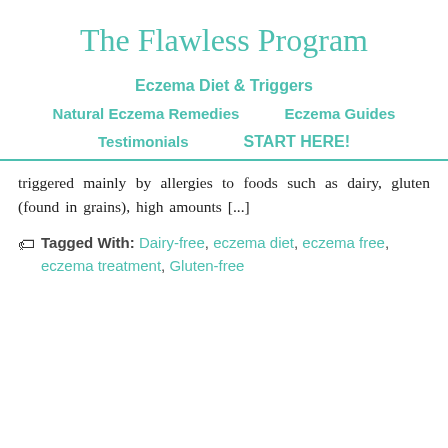The Flawless Program
Eczema Diet & Triggers
Natural Eczema Remedies
Eczema Guides
Testimonials
START HERE!
triggered mainly by allergies to foods such as dairy, gluten (found in grains), high amounts [...]
Tagged With: Dairy-free, eczema diet, eczema free, eczema treatment, Gluten-free